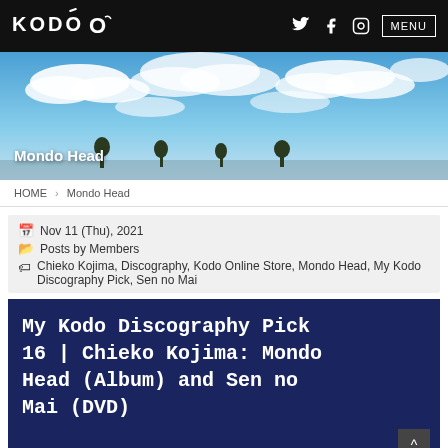KODO — MENU
[Figure (photo): Sky with clouds and trees silhouette on horizon, hero banner image for Mondo Head section]
Mondo Head
HOME > Mondo Head
Nov 11 (Thu), 2021
Posts by Members
Chieko Kojima, Discography, Kodo Online Store, Mondo Head, My Kodo Discography Pick, Sen no Mai
My Kodo Discography Pick 16 | Chieko Kojima: Mondo Head (Album) and Sen no Mai (DVD)